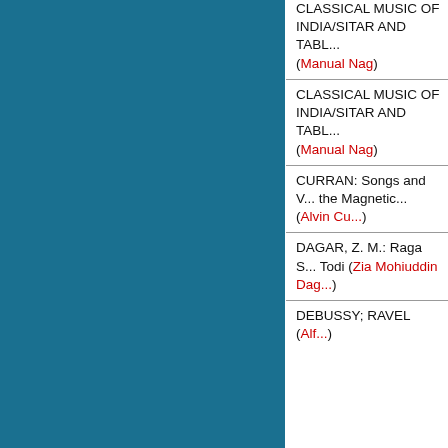CLASSICAL MUSIC OF INDIA/SITAR AND TABL... (Manual Nag)
CLASSICAL MUSIC OF INDIA/SITAR AND TABL... (Manual Nag)
CURRAN: Songs and V... the Magnetic... (Alvin Cu...)
DAGAR, Z. M.: Raga S... Todi (Zia Mohiuddin Dag...)
DEBUSSY; RAVEL (Alf...)
DEBUSSY; RAVEL (RA... & Ch)
DEVI, GIRIJA: Songs fr... Varanasi [Benares] (Girij...)
DREYBLATT: Animal M...